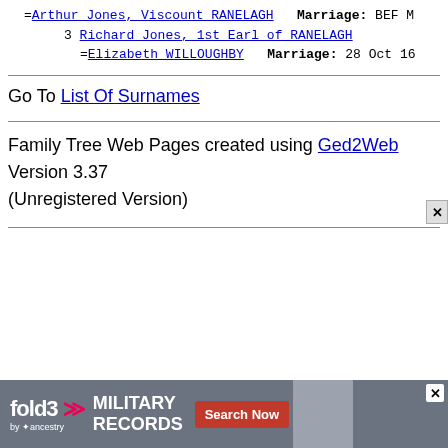=Arthur Jones, Viscount RANELAGH   Marriage: BEF [date]
      3 Richard Jones, 1st Earl of RANELAGH
        =Elizabeth WILLOUGHBY   Marriage: 28 Oct 16[...]
Go To List Of Surnames
Family Tree Web Pages created using Ged2Web Version 3.37 (Unregistered Version)
[Figure (other): Advertisement banner for fold3 by Ancestry — Military Records, Search Now button, with a grayscale photo of a soldier]